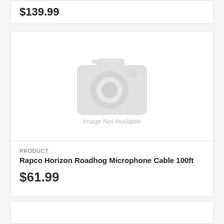$139.99
[Figure (photo): Image Not Available placeholder with camera icon]
PRODUCT
Rapco Horizon Roadhog Microphone Cable 100ft
$61.99